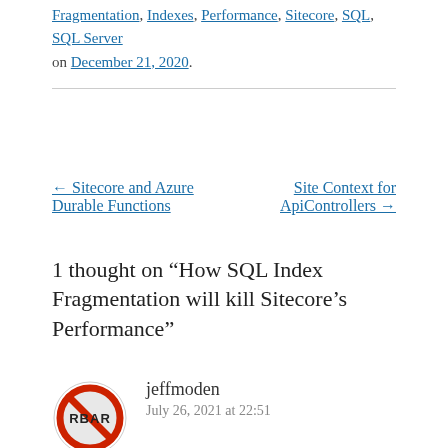Fragmentation, Indexes, Performance, Sitecore, SQL, SQL Server on December 21, 2020.
← Sitecore and Azure Durable Functions
Site Context for ApiControllers →
1 thought on “How SQL Index Fragmentation will kill Sitecore’s Performance”
jeffmoden
July 26, 2021 at 22:51
Does SiteCore, by any chance, use Random GUIDs for keys